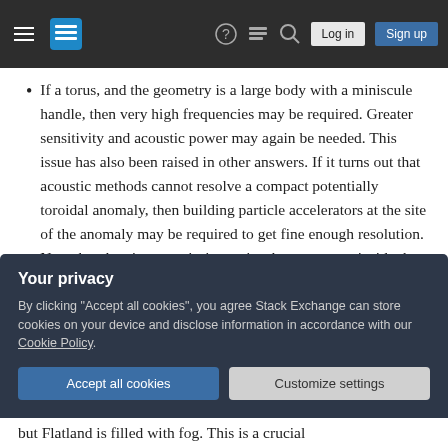Stack Exchange navigation bar with hamburger menu, logo, help, chat, search icons, Log in and Sign up buttons
If a torus, and the geometry is a large body with a miniscule handle, then very high frequencies may be required. Greater sensitivity and acoustic power may again be needed. This issue has also been raised in other answers. If it turns out that acoustic methods cannot resolve a compact potentially toroidal anomaly, then building particle accelerators at the site of the anomaly may be required to get fine enough resolution. Note that there's no a priori promise that processes inside the world are capable of resolving arbitrary complexities in the geometry
Your privacy
By clicking "Accept all cookies", you agree Stack Exchange can store cookies on your device and disclose information in accordance with our Cookie Policy.
Accept all cookies  Customize settings
but Flatland is filled with fog. This is a crucial